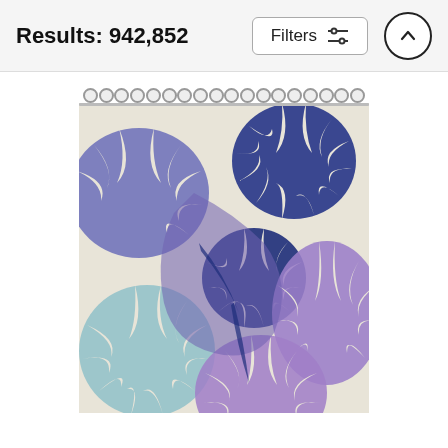Results: 942,852
[Figure (screenshot): E-commerce search results page header showing 'Results: 942,852' with a Filters button and an up arrow scroll button]
[Figure (photo): Shower curtain with tie-dye floral burst pattern in shades of navy blue, periwinkle, lavender/purple, and light teal on a cream/off-white background, shown hanging with metal rings at the top]